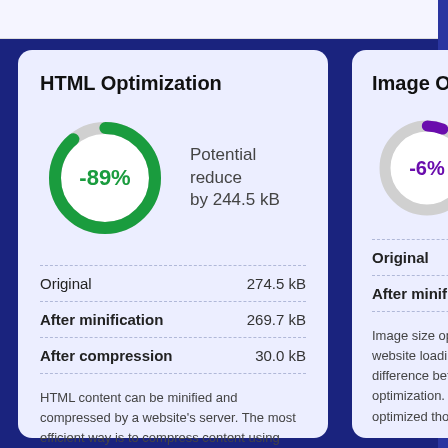HTML Optimization
[Figure (donut-chart): HTML Optimization]
Potential reduce by 244.5 kB
|  |  |
| --- | --- |
| Original | 274.5 kB |
| After minification | 269.7 kB |
| After compression | 30.0 kB |
HTML content can be minified and compressed by a website's server. The most efficient way is to compress content using GZIP which reduces data amount travelling through the network between server and browser. HTML code on this
Image Optim...
[Figure (donut-chart): Image Optimization]
|  |  |
| --- | --- |
| Original |  |
| After minifica... |  |
Image size optimiz... website loading tim... the difference betw... optimization. DIY E... optimized though.